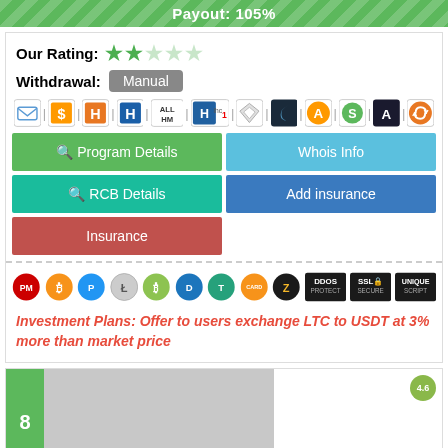Payout: 105%
Our Rating:
Withdrawal: Manual
[Figure (infographic): Row of monitoring/tracking service icon badges]
Program Details
Whois Info
RCB Details
Add insurance
Insurance
[Figure (infographic): Row of cryptocurrency and security badge icons: PM, Bitcoin, Payeer, Litecoin, Bitcoin Cash, Dash, Tether, Card, Zcash, DDOS Protect, SSL Secure, Unique Script]
Investment Plans: Offer to users exchange LTC to USDT at 3% more than market price
8
[Figure (photo): Gray placeholder image for listing item 8]